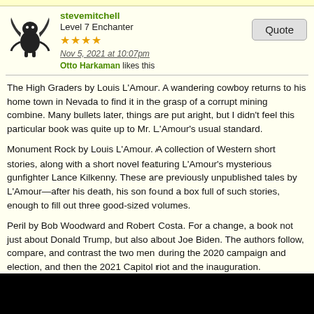stevemitchell
Level 7 Enchanter
★★★★
Nov 5, 2021 at 10:07pm
Otto Harkaman likes this
The High Graders by Louis L'Amour. A wandering cowboy returns to his home town in Nevada to find it in the grasp of a corrupt mining combine. Many bullets later, things are put aright, but I didn't feel this particular book was quite up to Mr. L'Amour's usual standard.
Monument Rock by Louis L'Amour. A collection of Western short stories, along with a short novel featuring L'Amour's mysterious gunfighter Lance Kilkenny. These are previously unpublished tales by L'Amour—after his death, his son found a box full of such stories, enough to fill out three good-sized volumes.
Peril by Bob Woodward and Robert Costa. For a change, a book not just about Donald Trump, but also about Joe Biden. The authors follow, compare, and contrast the two men during the 2020 campaign and election, and then the 2021 Capitol riot and the inauguration.
No Light to Die By, I Died Yesterday, and The Other World by Kenneth Robeson. Doc Savage battles the customary evildoers, but also finds time, in the third book, to discover a subterranean world of dinosaurs. Doc, as